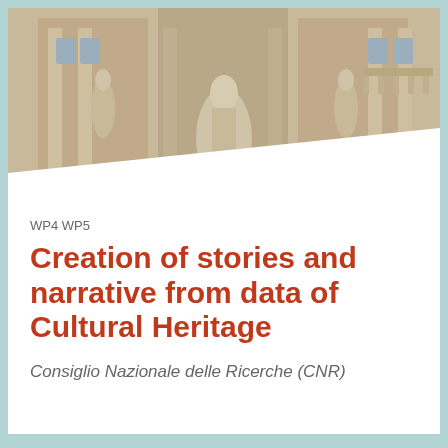[Figure (photo): Photograph of the Trevi Fountain in Rome, showing classical baroque statues on a travertine stone facade with ornate architectural details and sculptures]
WP4 WP5
Creation of stories and narrative from data of Cultural Heritage
Consiglio Nazionale delle Ricerche (CNR)